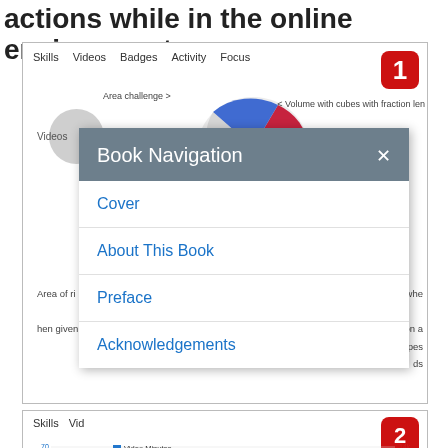actions while in the online environment.
[Figure (screenshot): Screenshot of an educational platform showing Skills, Videos, Badges, Activity, Focus navigation tabs. A 'Book Navigation' modal dialog is open with links: Cover, About This Book, Preface, Acknowledgements. A red badge with number 1 is in the top right corner. Background shows a partial pie chart and activity details.]
[Figure (screenshot): Partial screenshot showing a bar/line chart with legend for Video Minutes (blue), Skill Minutes (green), and Energy Points (red line). Y-axis shows values 50-70 on left and 10k-14k on right. A red badge with number 2 is visible.]